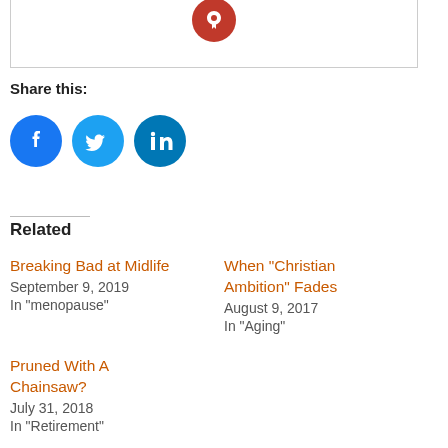[Figure (logo): Red circular icon with downward arrow/bookmark symbol at top of bordered box]
Share this:
[Figure (infographic): Three circular social media icons: Facebook (blue), Twitter (light blue), LinkedIn (dark teal)]
Related
Breaking Bad at Midlife
September 9, 2019
In "menopause"
When “Christian Ambition” Fades
August 9, 2017
In "Aging"
Pruned With A Chainsaw?
July 31, 2018
In "Retirement"